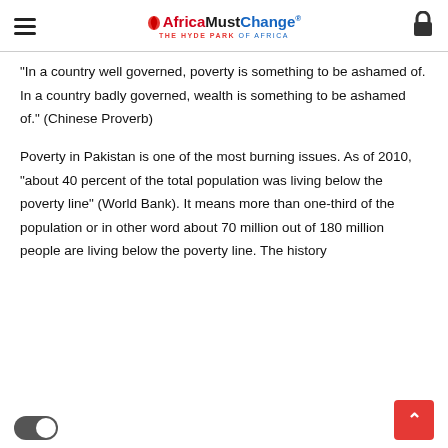AfricaMustChange® — THE HYDE PARK OF AFRICA
“In a country well governed, poverty is something to be ashamed of. In a country badly governed, wealth is something to be ashamed of.” (Chinese Proverb)
Poverty in Pakistan is one of the most burning issues. As of 2010, “about 40 percent of the total population was living below the poverty line” (World Bank). It means more than one-third of the population or in other word about 70 million out of 180 million people are living below the poverty line. The history